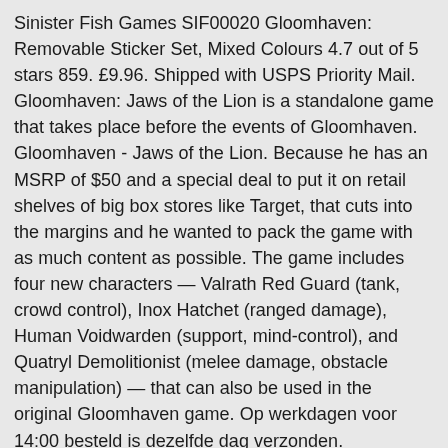Sinister Fish Games SIF00020 Gloomhaven: Removable Sticker Set, Mixed Colours 4.7 out of 5 stars 859. £9.96. Shipped with USPS Priority Mail. Gloomhaven: Jaws of the Lion is a standalone game that takes place before the events of Gloomhaven. Gloomhaven - Jaws of the Lion. Because he has an MSRP of $50 and a special deal to put it on retail shelves of big box stores like Target, that cuts into the margins and he wanted to pack the game with as much content as possible. The game includes four new characters — Valrath Red Guard (tank, crowd control), Inox Hatchet (ranged damage), Human Voidwarden (support, mind-control), and Quatryl Demolitionist (melee damage, obstacle manipulation) — that can also be used in the original Gloomhaven game. Op werkdagen voor 14:00 besteld is dezelfde dag verzonden. Bordspellen. Cephalofair Games Gloomhaven: Jaws of The Lion Strategy Boxed Board Game $49.99 at Target Gaming is the thing for teens, and that includes board games. Groot assortiment. Maybe there's an obvious answer to this, but why don't they just bundle the game with removable stickers in the